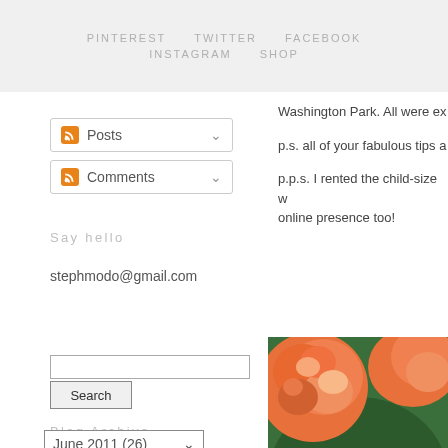PINTEREST   TWITTER   FACEBOOK   INSTAGRAM   SHOP
Posts
Comments
Washington Park. All were ex
p.s. all of your fabulous tips a
p.p.s. I rented the child-size w online presence too!
Say hello
stephmodo@gmail.com
Blog Archive
June 2011 (26)
[Figure (photo): Close-up photo of orange and pink roses with green leaves]